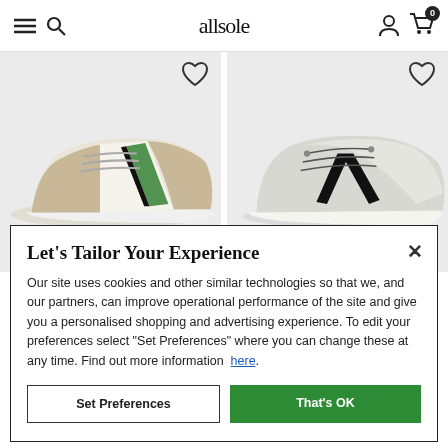allsole
[Figure (photo): Two sneaker product photos side by side on gray background with heart/wishlist icons. Left: beige/white retro sneaker with green and black stripe. Right: gray/white running sneaker with large black V logo.]
Let's Tailor Your Experience
Our site uses cookies and other similar technologies so that we, and our partners, can improve operational performance of the site and give you a personalised shopping and advertising experience. To edit your preferences select "Set Preferences" where you can change these at any time. Find out more information here.
Set Preferences
That's OK